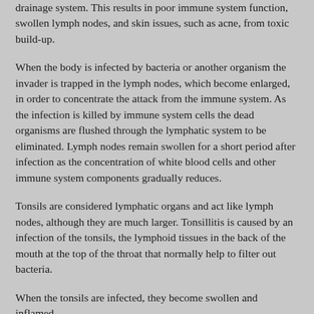drainage system. This results in poor immune system function, swollen lymph nodes, and skin issues, such as acne, from toxic build-up.
When the body is infected by bacteria or another organism the invader is trapped in the lymph nodes, which become enlarged, in order to concentrate the attack from the immune system. As the infection is killed by immune system cells the dead organisms are flushed through the lymphatic system to be eliminated. Lymph nodes remain swollen for a short period after infection as the concentration of white blood cells and other immune system components gradually reduces.
Tonsils are considered lymphatic organs and act like lymph nodes, although they are much larger. Tonsillitis is caused by an infection of the tonsils, the lymphoid tissues in the back of the mouth at the top of the throat that normally help to filter out bacteria.
When the tonsils are infected, they become swollen and inflamed,